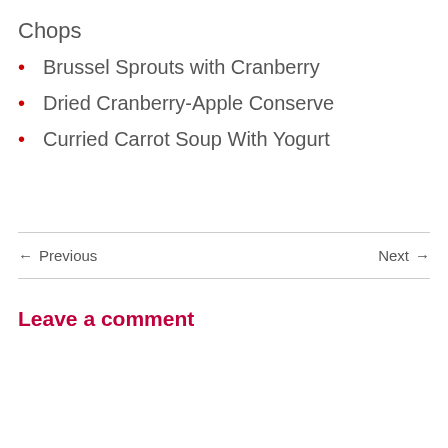Chops
Brussel Sprouts with Cranberry
Dried Cranberry-Apple Conserve
Curried Carrot Soup With Yogurt
← Previous    Next →
Leave a comment